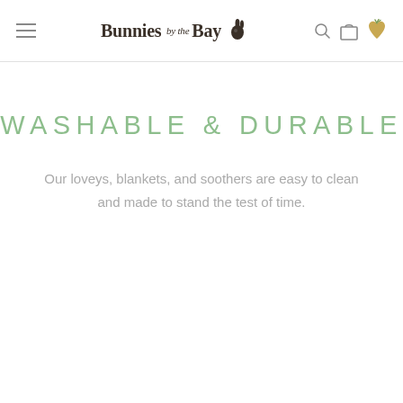Bunnies by the Bay
WASHABLE & DURABLE
Our loveys, blankets, and soothers are easy to clean and made to stand the test of time.